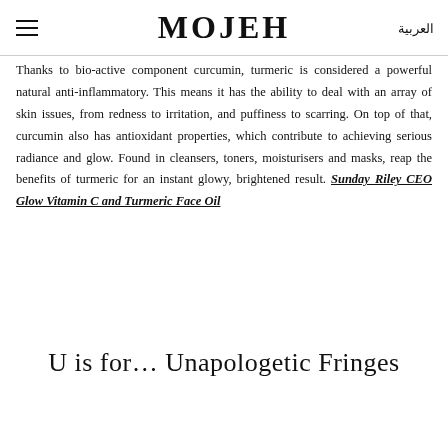MOJEH | العربية
Thanks to bio-active component curcumin, turmeric is considered a powerful natural anti-inflammatory. This means it has the ability to deal with an array of skin issues, from redness to irritation, and puffiness to scarring. On top of that, curcumin also has antioxidant properties, which contribute to achieving serious radiance and glow. Found in cleansers, toners, moisturisers and masks, reap the benefits of turmeric for an instant glowy, brightened result. Sunday Riley CEO Glow Vitamin C and Turmeric Face Oil
U is for… Unapologetic Fringes